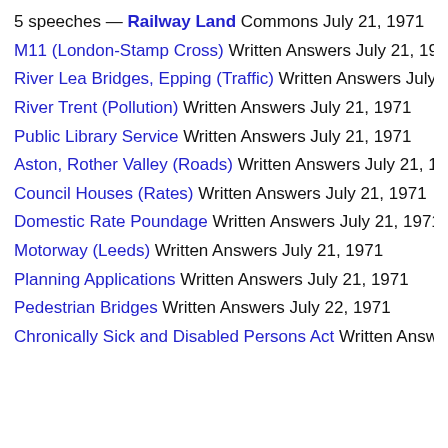5 speeches — Railway Land Commons July 21, 1971
M11 (London-Stamp Cross) Written Answers July 21, 1971
River Lea Bridges, Epping (Traffic) Written Answers July 21, 1971
River Trent (Pollution) Written Answers July 21, 1971
Public Library Service Written Answers July 21, 1971
Aston, Rother Valley (Roads) Written Answers July 21, 1971
Council Houses (Rates) Written Answers July 21, 1971
Domestic Rate Poundage Written Answers July 21, 1971
Motorway (Leeds) Written Answers July 21, 1971
Planning Applications Written Answers July 21, 1971
Pedestrian Bridges Written Answers July 22, 1971
Chronically Sick and Disabled Persons Act Written Answers Ju…